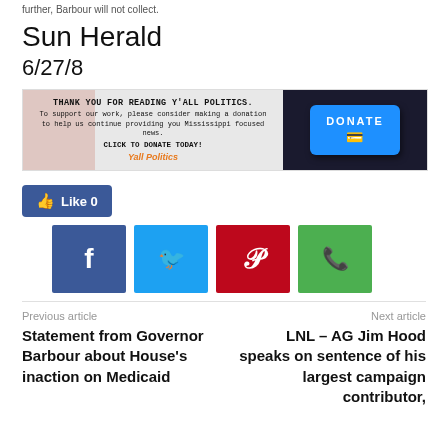Sun Herald
6/27/8
[Figure (infographic): Yall Politics donation banner ad with text: THANK YOU FOR READING Y'ALL POLITICS. To support our work, please consider making a donation to help us continue providing you Mississippi focused news. CLICK TO DONATE TODAY! with a blue DONATE keyboard key on right side.]
[Figure (infographic): Facebook Like button showing Like 0]
[Figure (infographic): Social share buttons row: Facebook (blue, f icon), Twitter (light blue, bird icon), Pinterest (red, P icon), WhatsApp (green, phone icon)]
Previous article
Next article
Statement from Governor Barbour about House's inaction on Medicaid
LNL – AG Jim Hood speaks on sentence of his largest campaign contributor,